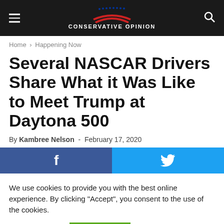CONSERVATIVE OPINION
Home › Happening Now
Several NASCAR Drivers Share What it Was Like to Meet Trump at Daytona 500
By Kambree Nelson - February 17, 2020
[Figure (other): Facebook and Twitter social share buttons]
We use cookies to provide you with the best online experience. By clicking "Accept", you consent to the use of the cookies.
Cookie settings   ACCEPT